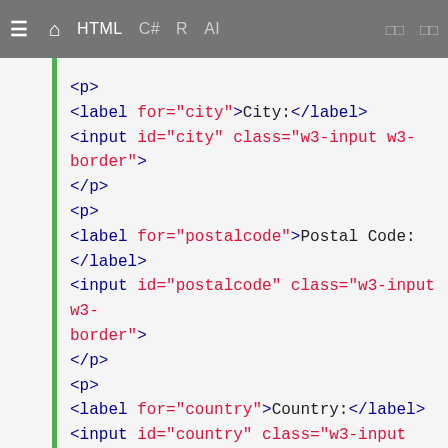≡  🏠  HTML  C#  R  AI  □□  □□
<p>
<label for="city">City:</label>
<input id="city" class="w3-input w3-border">
</p>

<p>
<label for="postalcode">Postal Code:</label>
<input id="postalcode" class="w3-input w3-border">
</p>

<p>
<label for="country">Country:</label>
<input id="country" class="w3-input w3-border">
</p>

</div>